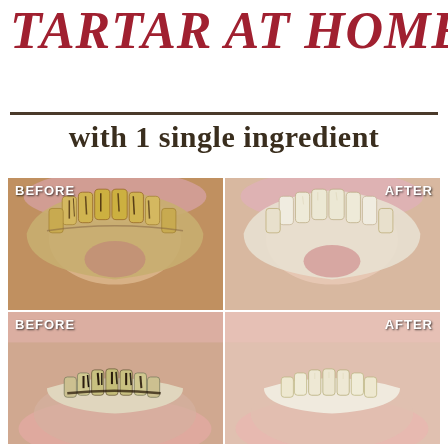TARTAR AT HOME
with 1 single ingredient
[Figure (photo): Before and after comparison of teeth showing tartar removal. Top-left: BEFORE - upper teeth viewed from below showing heavy yellow tartar and dark stains. Top-right: AFTER - upper teeth viewed from below showing clean white teeth. Bottom-left: BEFORE - lower teeth viewed from below showing heavy dark tartar buildup. Bottom-right: AFTER - lower teeth viewed from below showing clean teeth.]